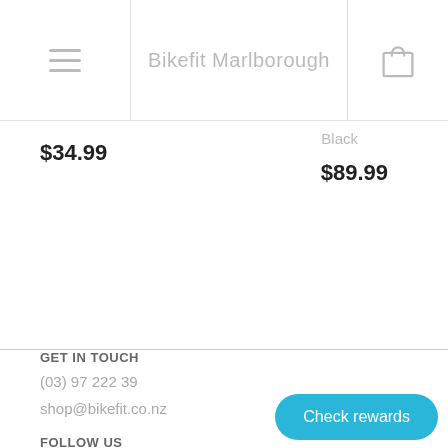Bikefit Marlborough
$34.99
Black
$89.99
GET IN TOUCH
(03) 97 222 39
shop@bikefit.co.nz
FOLLOW US
Facebook
FOOTER
Check rewards